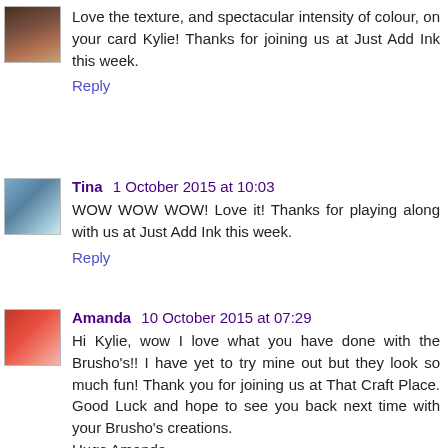[Figure (photo): Small avatar photo of a person (dark tones, head/shoulders)]
Love the texture, and spectacular intensity of colour, on your card Kylie! Thanks for joining us at Just Add Ink this week.
Reply
[Figure (photo): Small avatar photo of Tina (woman in blue top)]
Tina 1 October 2015 at 10:03
WOW WOW WOW! Love it! Thanks for playing along with us at Just Add Ink this week.
Reply
[Figure (photo): Small avatar photo of Amanda (woman with red top)]
Amanda 10 October 2015 at 07:29
Hi Kylie, wow I love what you have done with the Brusho's!! I have yet to try mine out but they look so much fun! Thank you for joining us at That Craft Place. Good Luck and hope to see you back next time with your Brusho's creations. Hugs Amanda
Reply